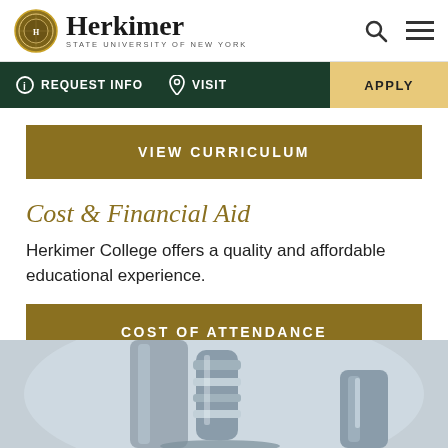Herkimer STATE UNIVERSITY OF NEW YORK
REQUEST INFO   VISIT   APPLY
VIEW CURRICULUM
Cost & Financial Aid
Herkimer College offers a quality and affordable educational experience.
COST OF ATTENDANCE
[Figure (photo): Close-up photo of a microscope, blueish-grey tones, scientific laboratory equipment]